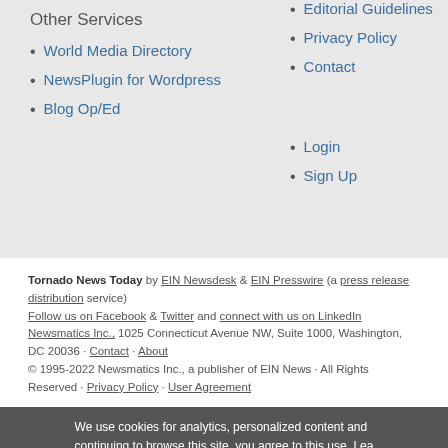Other Services
World Media Directory
NewsPlugin for Wordpress
Blog Op/Ed
Editorial Guidelines
Privacy Policy
Contact
Login
Sign Up
Tornado News Today by EIN Newsdesk & EIN Presswire (a press release distribution service)
Follow us on Facebook & Twitter and connect with us on LinkedIn
Newsmatics Inc., 1025 Connecticut Avenue NW, Suite 1000, Washington, DC 20036 · Contact · About
© 1995-2022 Newsmatics Inc., a publisher of EIN News · All Rights Reserved · Privacy Policy · User Agreement
We use cookies for analytics, personalized content and continuing to browse this site, you agree to this use. Lea